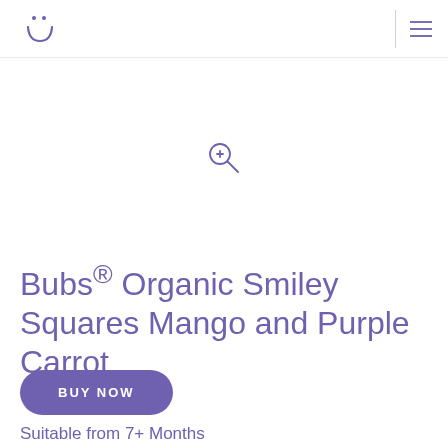Bubs logo and navigation
[Figure (other): Magnify zoom-in icon (circle with plus sign and handle), purple outline]
Bubs® Organic Smiley Squares Mango and Purple Carrot
BUY NOW
Suitable from 7+ Months